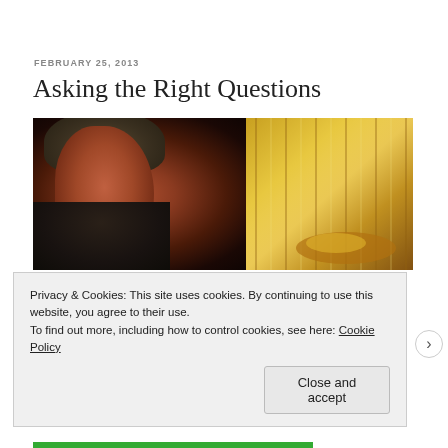FEBRUARY 25, 2013
Asking the Right Questions
[Figure (photo): A man wearing a fedora hat and leather jacket (resembling Indiana Jones) staring intensely, with a large golden wine glass visible on the right side of the frame.]
Privacy & Cookies: This site uses cookies. By continuing to use this website, you agree to their use.
To find out more, including how to control cookies, see here: Cookie Policy
Close and accept